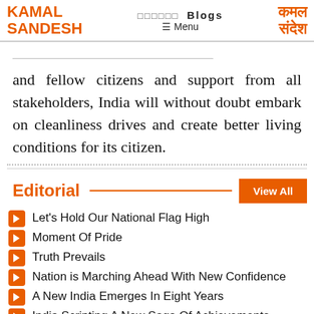KAMAL SANDESH | कमल संदेश | Blogs | Menu
and fellow citizens and support from all stakeholders, India will without doubt embark on cleanliness drives and create better living conditions for its citizen.
Editorial
Let's Hold Our National Flag High
Moment Of Pride
Truth Prevails
Nation is Marching Ahead With New Confidence
A New India Emerges In Eight Years
India Scripting A New Saga Of Achievements